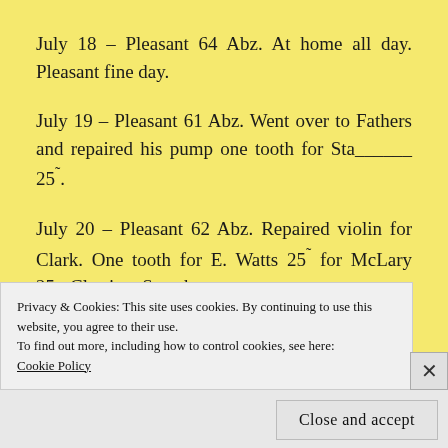July 18 – Pleasant 64 Abz. At home all day. Pleasant fine day.
July 19 – Pleasant 61 Abz. Went over to Fathers and repaired his pump one tooth for Sta_____ 25˜.
July 20 – Pleasant 62 Abz. Repaired violin for Clark. One tooth for E. Watts 25˜ for McLary 25~ Clarrissa Starr here.
Privacy & Cookies: This site uses cookies. By continuing to use this website, you agree to their use.
To find out more, including how to control cookies, see here:
Cookie Policy
Close and accept